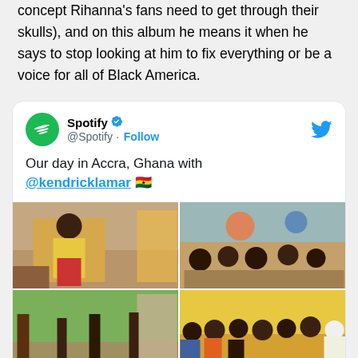concept Rihanna's fans need to get through their skulls), and on this album he means it when he says to stop looking at him to fix everything or be a voice for all of Black America.
[Figure (screenshot): Embedded tweet from @Spotify showing: 'Our day in Accra, Ghana with @kendricklamar 🇬🇭' with a 2x2 grid of photos showing Kendrick Lamar and locals at the beach and outdoor settings in Ghana.]